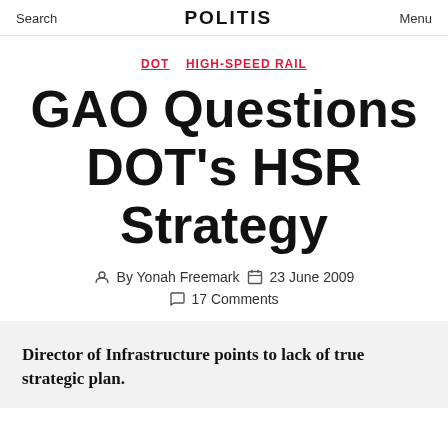Search  POLITIS  Menu
DOT  HIGH-SPEED RAIL
GAO Questions DOT's HSR Strategy
By Yonah Freemark  23 June 2009  17 Comments
Director of Infrastructure points to lack of true strategic plan.